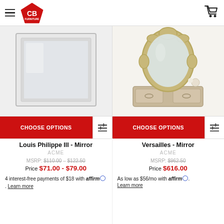CB Furniture
[Figure (photo): Left: rectangular silver-framed mirror on white/grey background. Right: ornate champagne/silver baroque-style mirror with dresser.]
CHOOSE OPTIONS (left button)
CHOOSE OPTIONS (right button)
Louis Philippe III - Mirror
ACME
MSRP: $110.00 – $122.50
Price $71.00 - $79.00
4 interest-free payments of $18 with affirm. Learn more
Versailles - Mirror
ACME
MSRP: $962.50
Price $616.00
As low as $56/mo with affirm. Learn more